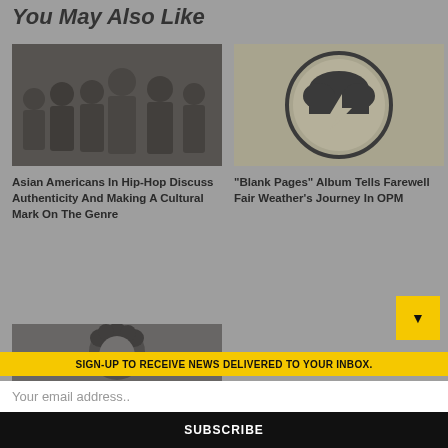You May Also Like
[Figure (photo): Group of Asian American hip-hop artists on stage]
[Figure (logo): Circular logo with cloud and lightning bolt, beige/dark color scheme]
Asian Americans In Hip-Hop Discuss Authenticity And Making A Cultural Mark On The Genre
"Blank Pages" Album Tells Farewell Fair Weather's Journey In OPM
[Figure (photo): Person with curly dark hair, partial view]
SIGN-UP TO RECEIVE NEWS DELIVERED TO YOUR INBOX.
Your email address..
SUBSCRIBE